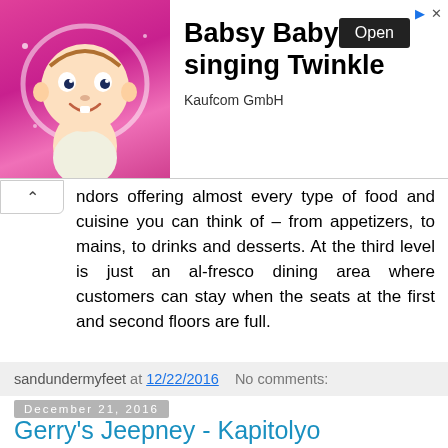[Figure (photo): Advertisement banner: animated baby character (Babsy Baby) on pink background with heart shape, beside text 'Babsy Baby singing Twinkle' by Kaufcom GmbH with an Open button]
ndors offering almost every type of food and cuisine you can think of – from appetizers, to mains, to drinks and desserts. At the third level is just an al-fresco dining area where customers can stay when the seats at the first and second floors are full.
sandundermyfeet at 12/22/2016   No comments:
December 21, 2016
Gerry's Jeepney - Kapitolyo
In every country there will always be something unique about it. In the Philippines one of the "unique" things that you would encounter is the jeepney. They are known for their